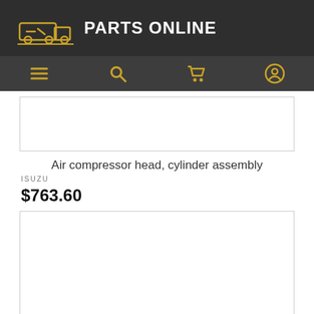PARTS ONLINE
[Figure (screenshot): Navigation bar with hamburger menu, search, cart, and user profile icons]
[Figure (photo): Product image placeholder (white box with border)]
Air compressor head, cylinder assembly
ISUZU
$763.60
[Figure (photo): Second product image placeholder (white box with border)]